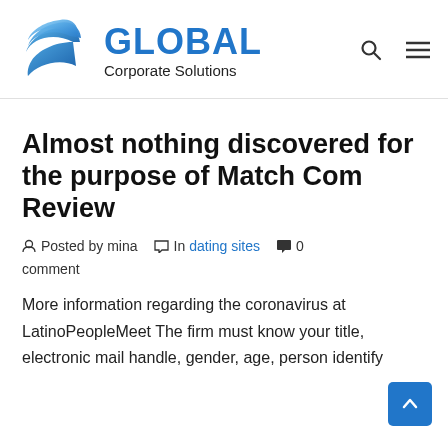[Figure (logo): Global Corporate Solutions logo with blue wing-like emblem and blue GLOBAL text with Corporate Solutions subtitle]
Almost nothing discovered for the purpose of Match Com Review
Posted by mina   In dating sites   0 comment
More information regarding the coronavirus at LatinoPeopleMeet The firm must know your title, electronic mail handle, gender, age, person identify